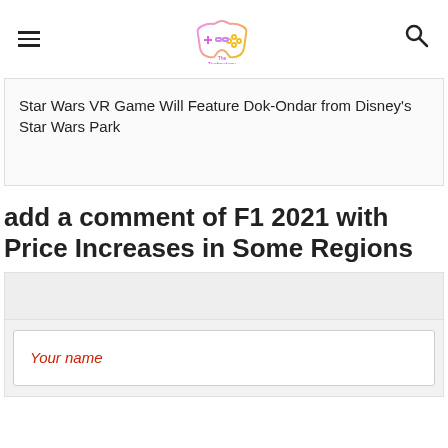The Technology Market
Star Wars VR Game Will Feature Dok-Ondar from Disney's Star Wars Park
add a comment of F1 2021 with Price Increases in Some Regions
Your name